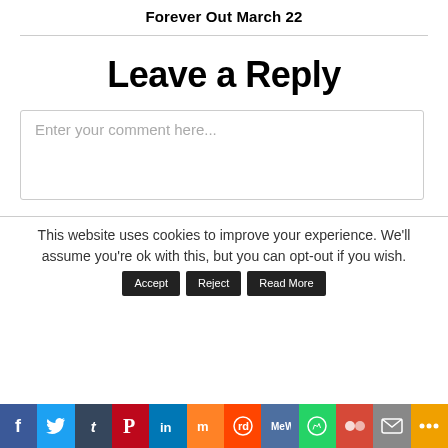Forever Out March 22
Leave a Reply
Enter your comment here...
This website uses cookies to improve your experience. We'll assume you're ok with this, but you can opt-out if you wish.
[Figure (infographic): Social media sharing bar with icons: Facebook, Twitter, Tumblr, Pinterest, LinkedIn, Mix, Reddit, MeWe, WhatsApp, Myspace, Email, More]